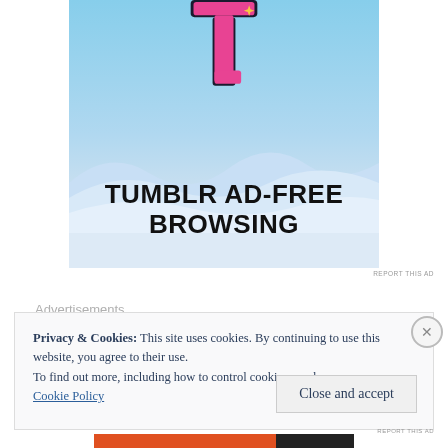[Figure (illustration): Tumblr ad banner showing the Tumblr 't' logo in pink with a blue sky background and wave design, text reads TUMBLR AD-FREE BROWSING]
REPORT THIS AD
Advertisements
Privacy & Cookies: This site uses cookies. By continuing to use this website, you agree to their use.
To find out more, including how to control cookies, see here:
Cookie Policy
Close and accept
[Figure (illustration): Bottom advertisement bar with orange/red and black segments]
REPORT THIS AD